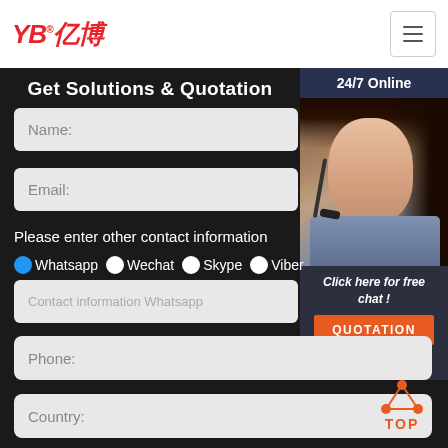[Figure (logo): YB 亿博 logo in red italic bold text with registered trademark symbol]
[Figure (infographic): Hamburger menu button (three horizontal lines) in top right corner]
Get Solutions & Quotation
24/7 Online
[Figure (photo): Female customer service agent wearing headset, smiling, 24/7 online support]
Click here for free chat !
QUOTATION
Name:
Email:
Please enter other contact information
Whatsapp
Wechat
Skype
Viber
Contact information Whatsapp
Phone:
Country:
[Figure (infographic): Orange TOP button with triangular arrow pointing up]